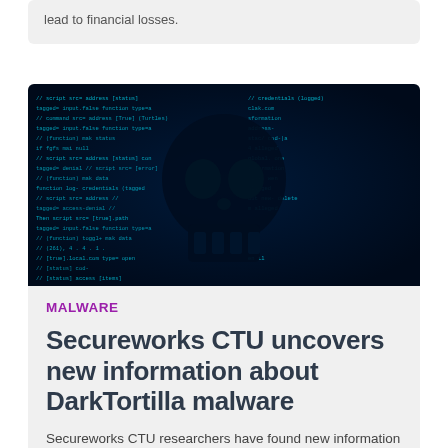lead to financial losses.
[Figure (photo): Dark blue background with glowing cyan code/script text and a dark skull silhouette in the center, representing malware or cybersecurity threat.]
MALWARE
Secureworks CTU uncovers new information about DarkTortilla malware
Secureworks CTU researchers have found new information about the DarkTortilla malware, revealing more